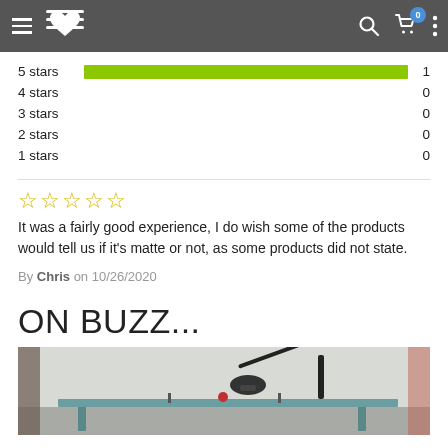Navigation header with menu, logo, search, cart (0), and more options
[Figure (bar-chart): Star rating distribution]
It was a fairly good experience, I do wish some of the products would tell us if it's matte or not, as some products did not state.
By Chris on 10/26/2020
ON BUZZ...
[Figure (photo): Photo of a room with a wall-mounted arm/lamp fixture over a table]